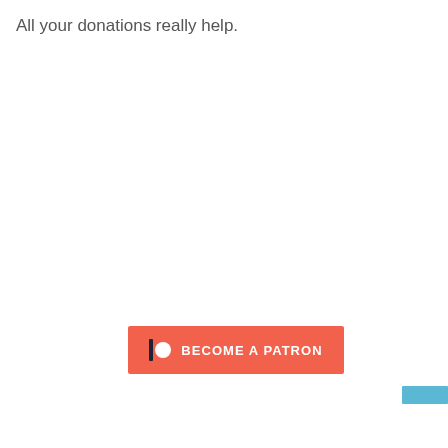All your donations really help.
[Figure (other): Patreon 'Become a Patron' button with bar and circle logo on coral/red-orange background]
[Figure (other): Small light blue rectangle in the lower right area of the page]